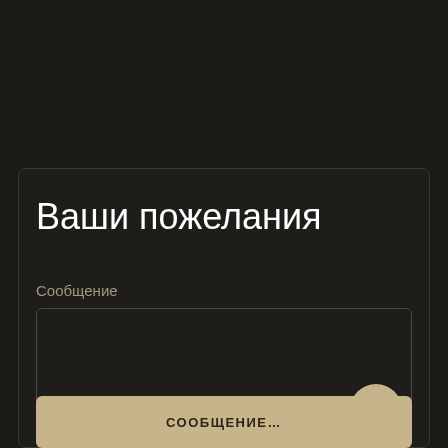Ваши пожелания
Сообщение
[Figure (screenshot): Dark-themed UI form with a message text area, a circular send button with paper airplane icon, and a bottom button labeled СООБЩЕНИЕ...]